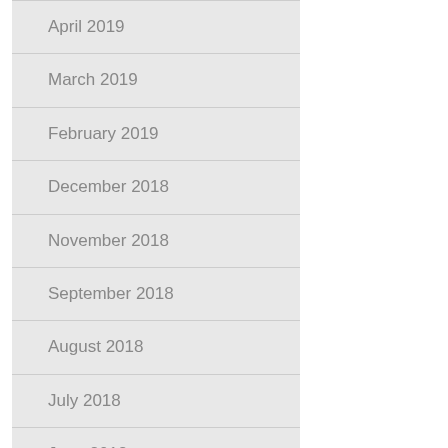April 2019
March 2019
February 2019
December 2018
November 2018
September 2018
August 2018
July 2018
June 2018
May 2018
April 2018
March 2018